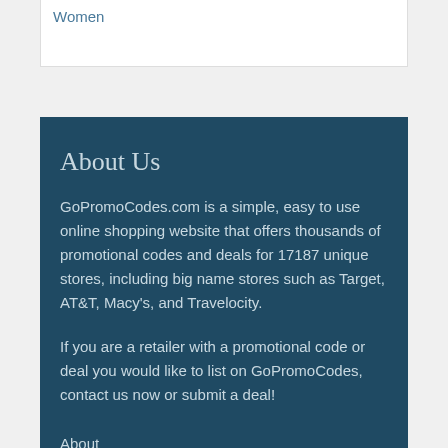Women
About Us
GoPromoCodes.com is a simple, easy to use online shopping website that offers thousands of promotional codes and deals for 17187 unique stores, including big name stores such as Target, AT&T, Macy's, and Travelocity.
If you are a retailer with a promotional code or deal you would like to list on GoPromoCodes, contact us now or submit a deal!
About
Blog